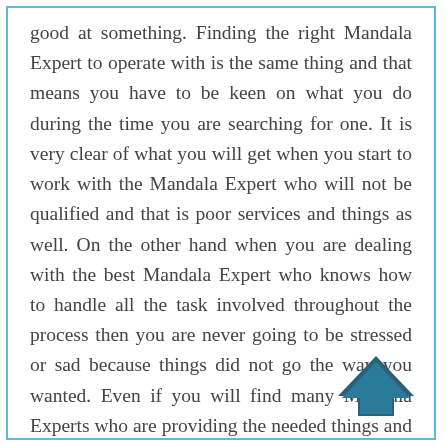good at something. Finding the right Mandala Expert to operate with is the same thing and that means you have to be keen on what you do during the time you are searching for one. It is very clear of what you will get when you start to work with the Mandala Expert who will not be qualified and that is poor services and things as well. On the other hand when you are dealing with the best Mandala Expert who knows how to handle all the task involved throughout the process then you are never going to be stressed or sad because things did not go the way you wanted. Even if you will find many Mandala Experts who are providing the needed things and services you have to know that they are not offering the same quality of things and services as well. You do not things that will be
[Figure (illustration): A dark teal/navy upward-pointing arrow chevron icon in the bottom right corner of the text box]